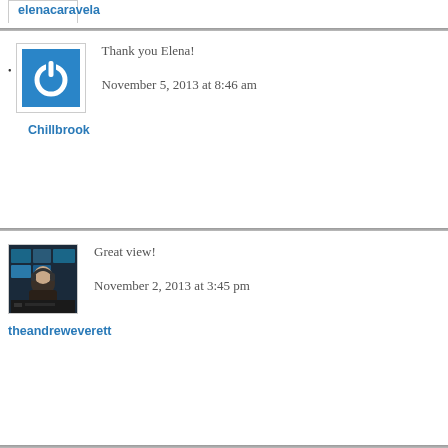[Figure (other): Partial avatar box at top of page]
elenacaravela
[Figure (logo): Blue square with white power button icon - Chillbrook avatar]
Thank you Elena!
November 5, 2013 at 8:46 am
Chillbrook
[Figure (photo): Photo of a man with headphones in a broadcast studio environment]
Great view!
November 2, 2013 at 3:45 pm
theandreweverett